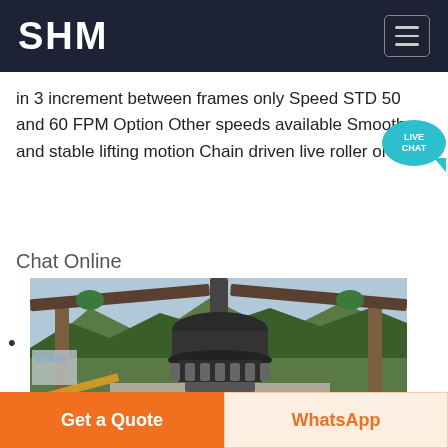SHM
in 3 increment between frames only Speed STD 50 and 60 FPM Option Other speeds available Smooth and stable lifting motion Chain driven live roller or roller
Chat Online
[Figure (photo): Industrial cone crusher machine installed outdoors on a concrete base, surrounded by a steel frame structure with mountains and trees in the background.]
Get a Quote | WhatsApp